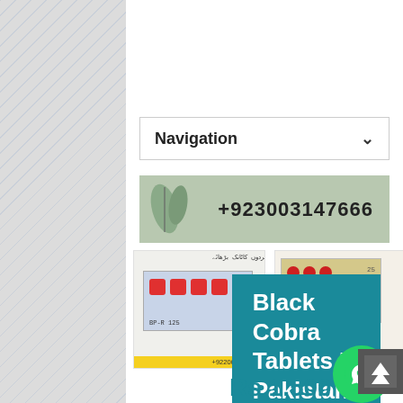[Figure (screenshot): Navigation dropdown bar with 'Navigation' label and chevron arrow]
[Figure (screenshot): Phone banner with leaf decoration and number +923003147666 on green/grey background]
[Figure (photo): Two product images of Black Cobra tablets in blister packs, with phone numbers on yellow banners]
[Figure (infographic): Teal box with 'Black Cobra Tablets In Pakistan' text in white bold, with green WhatsApp circle icon]
Rs 1,500